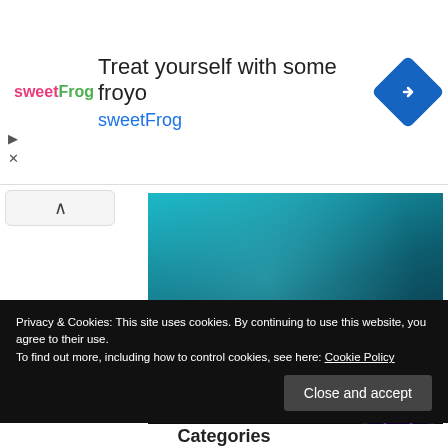[Figure (screenshot): SweetFrog advertisement banner with logo, headline 'Treat yourself with some froyo', subline 'sweetFrog', and a blue diamond navigation icon]
[Figure (photo): ROG Zephyrus G14 laptop advertisement showing a person with headphones holding a laptop, with product details and a 'Get Sleek Now' button]
Privacy & Cookies: This site uses cookies. By continuing to use this website, you agree to their use.
To find out more, including how to control cookies, see here: Cookie Policy
Close and accept
Categories